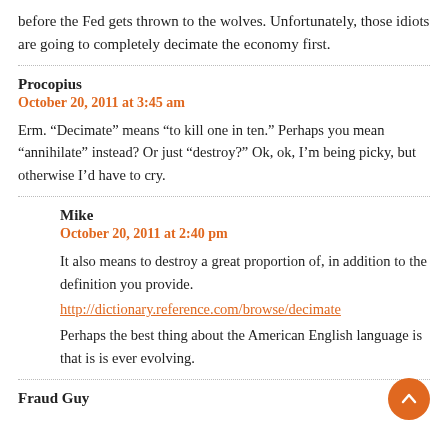before the Fed gets thrown to the wolves. Unfortunately, those idiots are going to completely decimate the economy first.
Procopius
October 20, 2011 at 3:45 am
Erm. “Decimate” means “to kill one in ten.” Perhaps you mean “annihilate” instead? Or just “destroy?” Ok, ok, I’m being picky, but otherwise I’d have to cry.
Mike
October 20, 2011 at 2:40 pm
It also means to destroy a great proportion of, in addition to the definition you provide.
http://dictionary.reference.com/browse/decimate
Perhaps the best thing about the American English language is that is is ever evolving.
Fraud Guy